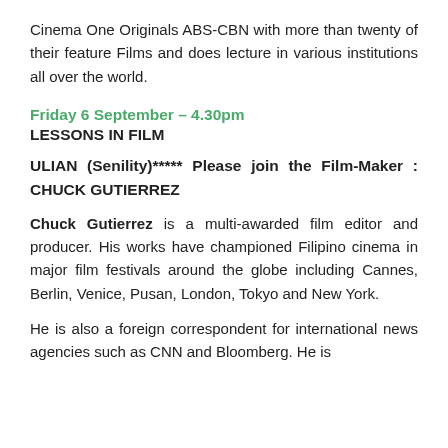Cinema One Originals ABS-CBN with more than twenty of their feature Films and does lecture in various institutions all over the world.
Friday 6 September – 4.30pm
LESSONS IN FILM
ULIAN (Senility)***** Please join the Film-Maker : CHUCK GUTIERREZ
Chuck Gutierrez is a multi-awarded film editor and producer. His works have championed Filipino cinema in major film festivals around the globe including Cannes, Berlin, Venice, Pusan, London, Tokyo and New York.
He is also a foreign correspondent for international news agencies such as CNN and Bloomberg. He is